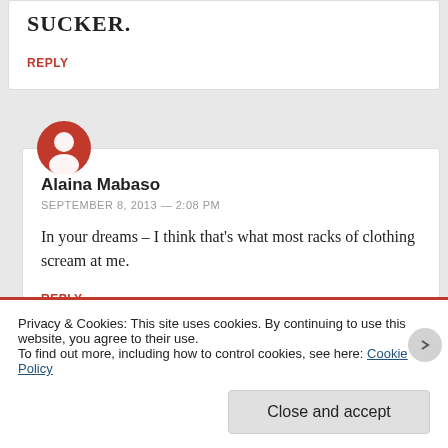SUCKER.
REPLY
[Figure (illustration): Red circular avatar icon with white person silhouette]
Alaina Mabaso
SEPTEMBER 8, 2013 — 2:08 PM
In your dreams – I think that's what most racks of clothing scream at me.
REPLY
Privacy & Cookies: This site uses cookies. By continuing to use this website, you agree to their use.
To find out more, including how to control cookies, see here: Cookie Policy
Close and accept